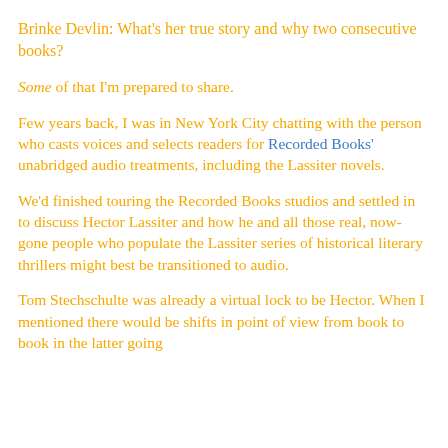Brinke Devlin: What's her true story and why two consecutive books?
Some of that I'm prepared to share.
Few years back, I was in New York City chatting with the person who casts voices and selects readers for Recorded Books' unabridged audio treatments, including the Lassiter novels.
We'd finished touring the Recorded Books studios and settled in to discuss Hector Lassiter and how he and all those real, now-gone people who populate the Lassiter series of historical literary thrillers might best be transitioned to audio.
Tom Stechschulte was already a virtual lock to be Hector. When I mentioned there would be shifts in point of view from book to book in the latter going...